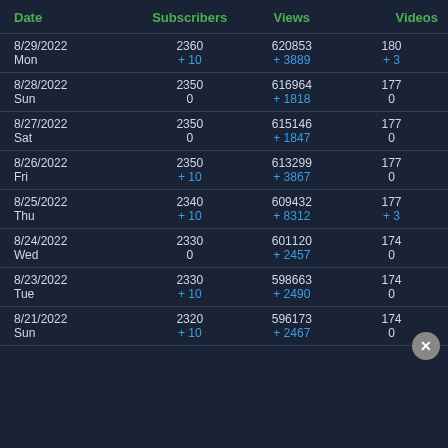| Date | Subscribers | Views | Videos |
| --- | --- | --- | --- |
| 8/29/2022 Mon | 2360
+ 10 | 620853
+ 3889 | 180
+ 3 |
| 8/28/2022 Sun | 2350
0 | 616964
+ 1818 | 177
0 |
| 8/27/2022 Sat | 2350
0 | 615146
+ 1847 | 177
0 |
| 8/26/2022 Fri | 2350
+ 10 | 613299
+ 3867 | 177
0 |
| 8/25/2022 Thu | 2340
+ 10 | 609432
+ 8312 | 177
+ 3 |
| 8/24/2022 Wed | 2330
0 | 601120
+ 2457 | 174
0 |
| 8/23/2022 Tue | 2330
+ 10 | 598663
+ 2490 | 174
0 |
| 8/21/2022 Sun | 2320
+ 10 | 596173
+ 2467 | 174
0 |